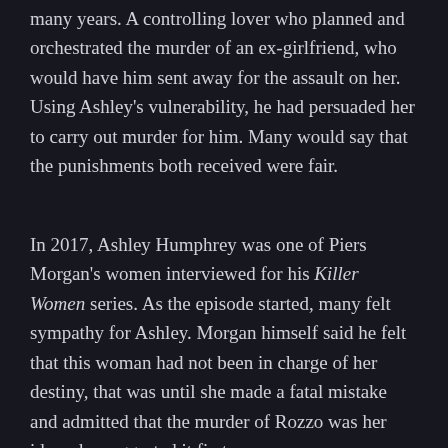many years. A controlling lover who planned and orchestrated the murder of an ex-girlfriend, who would have him sent away for the assault on her. Using Ashley's vulnerability, he had persuaded her to carry out murder for him. Many would say that the punishments both received were fair.
In 2017, Ashley Humphrey was one of Piers Morgan's women interviewed for his Killer Women series. As the episode started, many felt sympathy for Ashley. Morgan himself said he felt that this woman had not been in charge of her destiny, that was until she made a fatal mistake and admitted that the murder of Rozzo was her idea; she suggested it first.